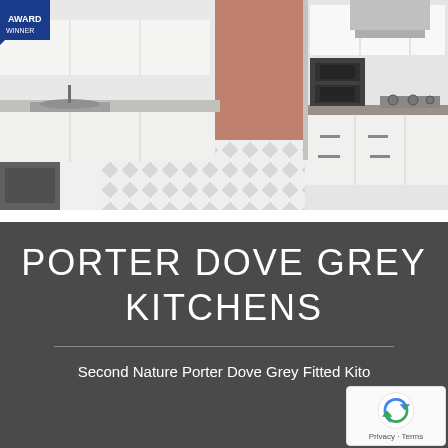[Figure (photo): Modern fitted kitchen with white cabinetry, grey countertops, patterned tile floor, stainless steel appliances including double oven and gas hob. Blue badge/logo in top-left corner.]
PORTER DOVE GREY KITCHENS
Second Nature Porter Dove Grey Fitted Kito